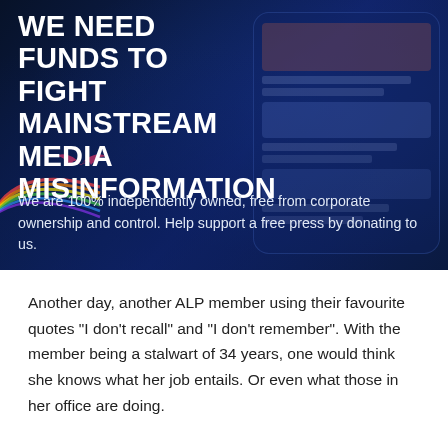[Figure (photo): Dark blue banner image with a smartphone screen visible on the right showing news/media content, a rainbow arc in the lower left, and a bird/bat logo. Contains large white bold headline text and a subtitle.]
WE NEED FUNDS TO FIGHT MAINSTREAM MEDIA MISINFORMATION
We are 100% independently owned, free from corporate ownership and control. Help support a free press by donating to us.
Another day, another ALP member using their favourite quotes "I don't recall" and "I don't remember". With the member being a stalwart of 34 years, one would think she knows what her job entails. Or even what those in her office are doing.